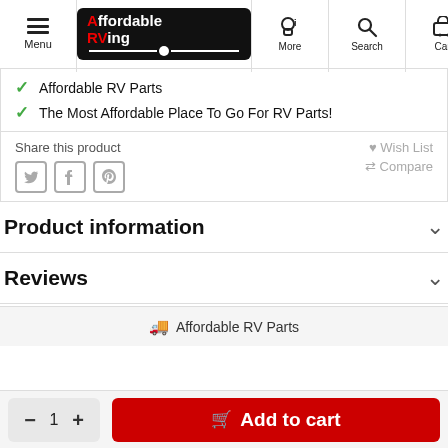Menu | Affordable RVing | More | Search | Cart (0)
Affordable RV Parts
The Most Affordable Place To Go For RV Parts!
Share this product
Wish List
Compare
Product information
Reviews
Affordable RV Parts
1  Add to cart